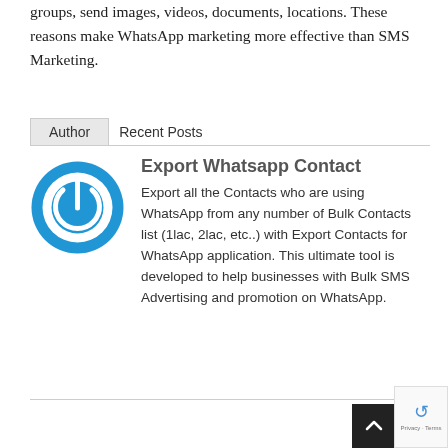groups, send images, videos, documents, locations. These reasons make WhatsApp marketing more effective than SMS Marketing.
Author   Recent Posts
Export Whatsapp Contact
[Figure (logo): Blue circular power button logo icon]
Export all the Contacts who are using WhatsApp from any number of Bulk Contacts list (1lac, 2lac, etc..) with Export Contacts for WhatsApp application. This ultimate tool is developed to help businesses with Bulk SMS Advertising and promotion on WhatsApp.